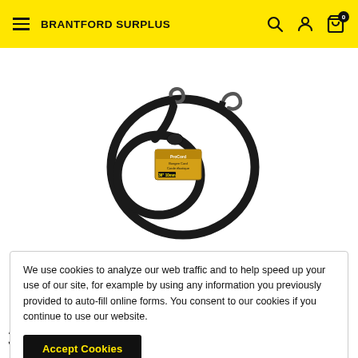BRANTFORD SURPLUS
[Figure (photo): Black bungee cord coiled in a loop with two metal hooks at the ends, shown against a white background. A yellow product label is attached.]
We use cookies to analyze our web traffic and to help speed up your use of our site, for example by using any information you previously provided to auto-fill online forms. You consent to our cookies if you continue to use our website.
Accept Cookies
36" 10PK$11.99